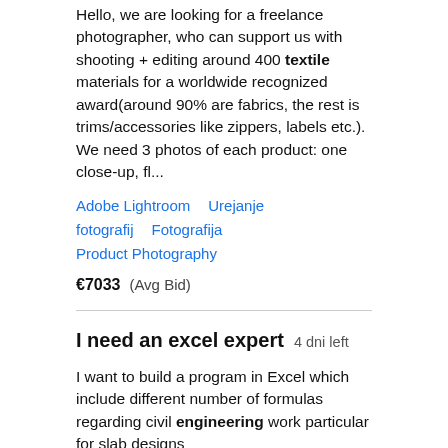Hello, we are looking for a freelance photographer, who can support us with shooting + editing around 400 textile materials for a worldwide recognized award(around 90% are fabrics, the rest is trims/accessories like zippers, labels etc.). We need 3 photos of each product: one close-up, fl...
Adobe Lightroom   Urejanje fotografij   Fotografija   Product Photography
€7033  (Avg Bid)
I need an excel expert  4 dni left
I want to build a program in Excel which include different number of formulas regarding civil engineering work particular for slab designs
Gradbeni inženiring   Engineering Mathematics   Excel   Statika
€253  (Avg Bid)